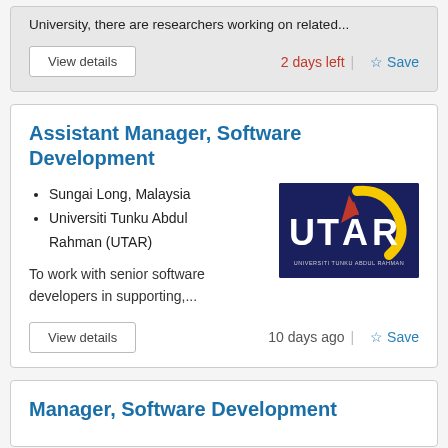University, there are researchers working on related...
View details
2 days left
Save
Assistant Manager, Software Development
Sungai Long, Malaysia
Universiti Tunku Abdul Rahman (UTAR)
[Figure (logo): UTAR - Universiti Tunku Abdul Rahman logo on dark navy background]
To work with senior software developers in supporting,...
View details
10 days ago
Save
Manager, Software Development